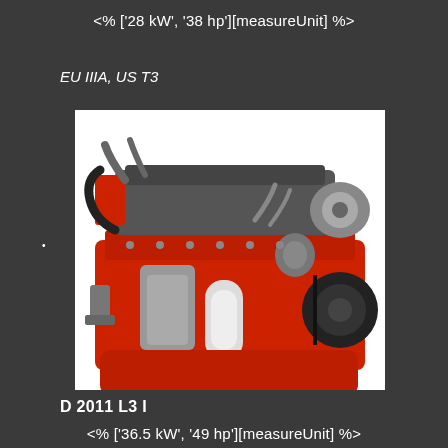<% ['28 kW', '38 hp'][measureUnit] %>
EU IIIA, US T3
•
[Figure (photo): Red industrial diesel engine (Deutz D 2011 L3 I) with visible turbocharger, filters, and mechanical components on white background]
D 2011 L3 I
<% ['36.5 kW', '49 hp'][measureUnit] %>